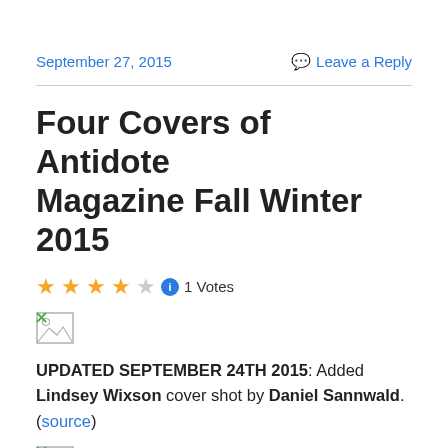September 27, 2015    Leave a Reply
Four Covers of Antidote Magazine Fall Winter 2015
★★★★☆ ℹ 1 Votes
[Figure (other): Broken image placeholder]
UPDATED SEPTEMBER 24TH 2015: Added Lindsey Wixson cover shot by Daniel Sannwald. (source)
[Figure (other): Broken image placeholder]